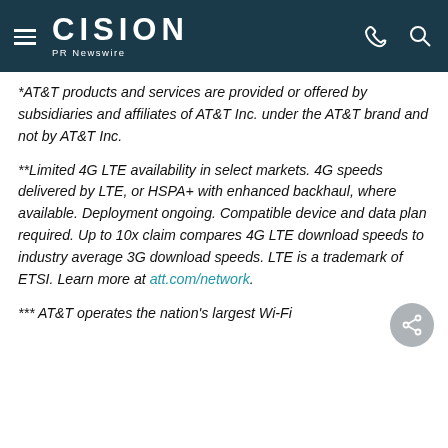CISION PR Newswire
*AT&T products and services are provided or offered by subsidiaries and affiliates of AT&T Inc. under the AT&T brand and not by AT&T Inc.
**Limited 4G LTE availability in select markets. 4G speeds delivered by LTE, or HSPA+ with enhanced backhaul, where available. Deployment ongoing. Compatible device and data plan required. Up to 10x claim compares 4G LTE download speeds to industry average 3G download speeds. LTE is a trademark of ETSI. Learn more at att.com/network.
*** AT&T operates the nation's largest Wi-Fi